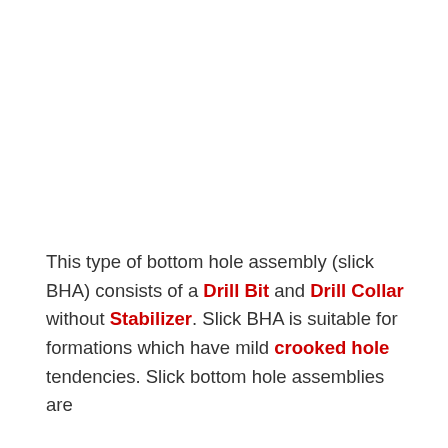This type of bottom hole assembly (slick BHA) consists of a Drill Bit and Drill Collar without Stabilizer. Slick BHA is suitable for formations which have mild crooked hole tendencies. Slick bottom hole assemblies are ...